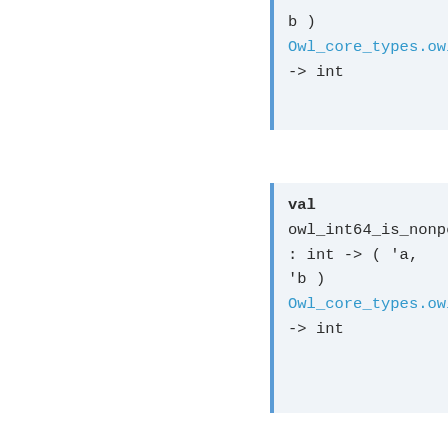b )
Owl_core_types.owl_arr
-> int
val owl_int64_is_nonpositiv
: int -> ( 'a,
'b )
Owl_core_types.owl_arr
-> int
val _owl_is_nonpositive
:
  'a 'b. ( 'a,
'b )
Stdlib.Bigarray.kind
->